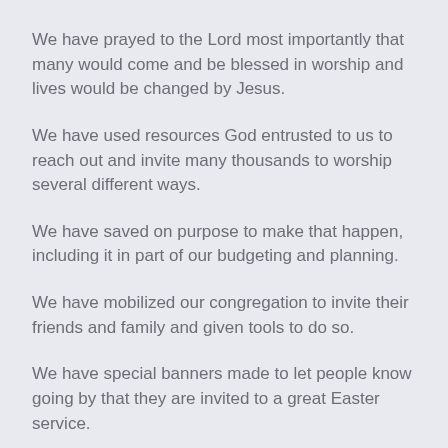We have prayed to the Lord most importantly that many would come and be blessed in worship and lives would be changed by Jesus.
We have used resources God entrusted to us to reach out and invite many thousands to worship several different ways.
We have saved on purpose to make that happen, including it in part of our budgeting and planning.
We have mobilized our congregation to invite their friends and family and given tools to do so.
We have special banners made to let people know going by that they are invited to a great Easter service.
We have also before or on Easter had the Easter Egg Hunt events to reach kiddos.